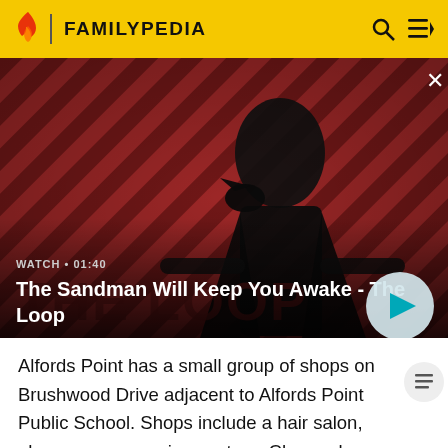FAMILYPEDIA
[Figure (screenshot): Video thumbnail for 'The Sandman Will Keep You Awake - The Loop' showing a dark figure with a raven on shoulder against a red and black striped background. Overlay shows WATCH • 01:40 and a play button.]
The Sandman Will Keep You Awake - The Loop
Alfords Point has a small group of shops on Brushwood Drive adjacent to Alfords Point Public School. Shops include a hair salon, pharmacy, convenience store, Charcoal Chicken & Pizza take-away and the Menai Dance Centre.